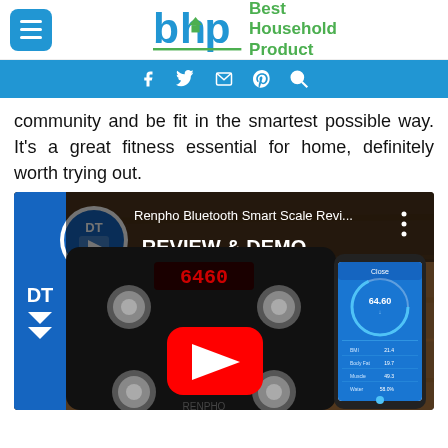Best Household Product
community and be fit in the smartest possible way. It’s a great fitness essential for home, definitely worth trying out.
[Figure (screenshot): YouTube video thumbnail for Renpho Bluetooth Smart Scale Review & Demo, showing a black smart scale with red digital display reading 6460, four metal sensor feet, and a smartphone showing the app with reading 64.60, with a red YouTube play button overlay. The video title reads 'Renpho Bluetooth Smart Scale Revi...' with channel logo 'DT'.]